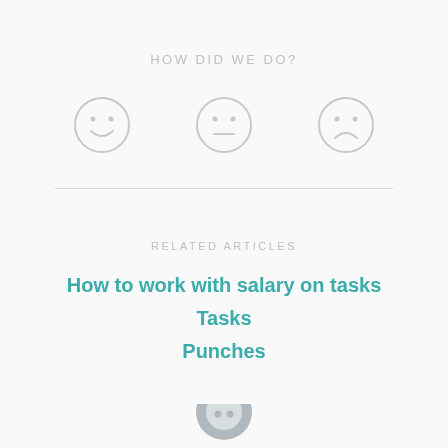HOW DID WE DO?
[Figure (illustration): Three emoji faces: happy (smiley), neutral (flat mouth), and sad (frowning), rendered as outlines in light gray]
RELATED ARTICLES
How to work with salary on tasks
Tasks
Punches
[Figure (logo): Partial circular logo at bottom center, gray tones, half visible]